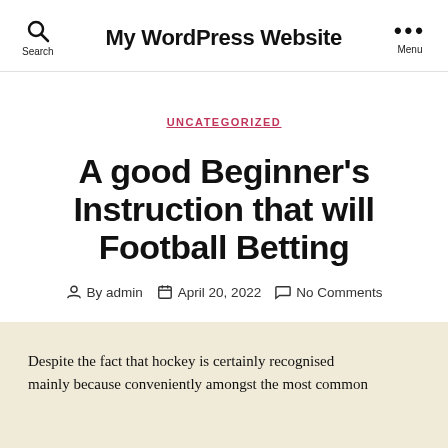My WordPress Website
UNCATEGORIZED
A good Beginner's Instruction that will Football Betting
By admin   April 20, 2022   No Comments
Despite the fact that hockey is certainly recognised mainly because conveniently amongst the most common